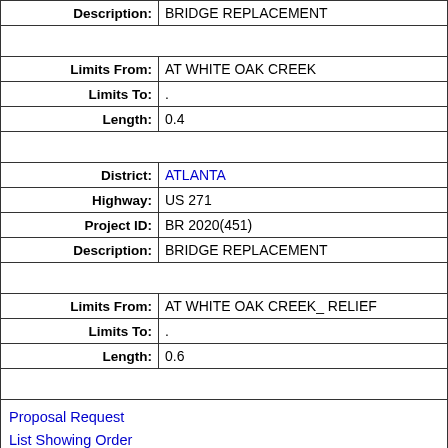| Field | Value |
| --- | --- |
| Description: | BRIDGE REPLACEMENT |
| Limits From: | AT WHITE OAK CREEK |
| Limits To: | . |
| Length: | 0.4 |
|  |  |
| District: | ATLANTA |
| Highway: | US 271 |
| Project ID: | BR 2020(451) |
| Description: | BRIDGE REPLACEMENT |
| Limits From: | AT WHITE OAK CREEK_ RELIEF |
| Limits To: | . |
| Length: | 0.6 |
|  |  |
Proposal Request
List Showing Order
Bid List
Addenda
Bid Tabulations
Award Status